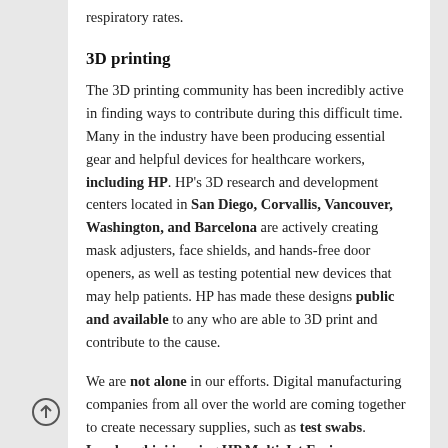respiratory rates.
3D printing
The 3D printing community has been incredibly active in finding ways to contribute during this difficult time. Many in the industry have been producing essential gear and helpful devices for healthcare workers, including HP. HP's 3D research and development centers located in San Diego, Corvallis, Vancouver, Washington, and Barcelona are actively creating mask adjusters, face shields, and hands-free door openers, as well as testing potential new devices that may help patients. HP has made these designs public and available to any who are able to 3D print and contribute to the cause.
We are not alone in our efforts. Digital manufacturing companies from all over the world are coming together to create necessary supplies, such as test swabs. Lamborghini is using HP Multi-Jet Fusion technology to make lung simulators used to test ventilators used by coronavirus patients. Individual 3D-printing enthusiasts are also